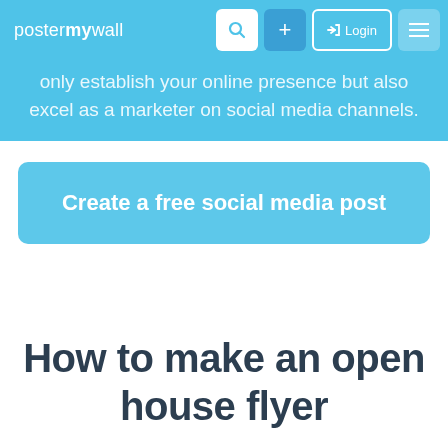postermywall [navigation bar with search, +, Login, menu buttons]
only establish your online presence but also excel as a marketer on social media channels.
Create a free social media post
How to make an open house flyer